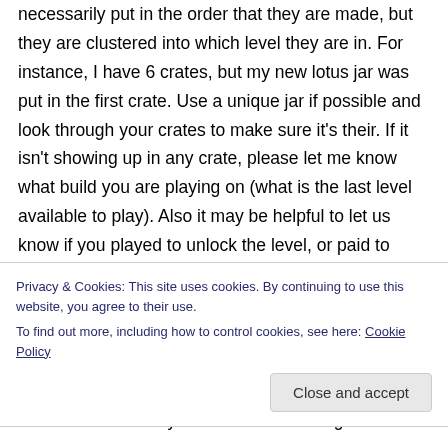necessarily put in the order that they are made, but they are clustered into which level they are in. For instance, I have 6 crates, but my new lotus jar was put in the first crate. Use a unique jar if possible and look through your crates to make sure it's their. If it isn't showing up in any crate, please let me know what build you are playing on (what is the last level available to play). Also it may be helpful to let us know if you played to unlock the level, or paid to unlock the level.
Privacy & Cookies: This site uses cookies. By continuing to use this website, you agree to their use.
To find out more, including how to control cookies, see here: Cookie Policy
Close and accept
Hi first off let me say I love love love this game